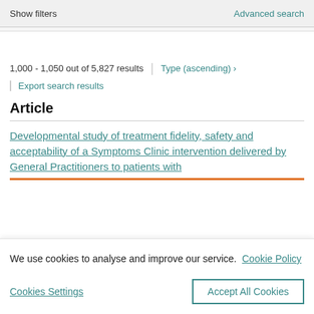Show filters | Advanced search
1,000 - 1,050 out of 5,827 results | Type (ascending) >
Export search results
Article
Developmental study of treatment fidelity, safety and acceptability of a Symptoms Clinic intervention delivered by General Practitioners to patients with
We use cookies to analyse and improve our service. Cookie Policy
Cookies Settings
Accept All Cookies